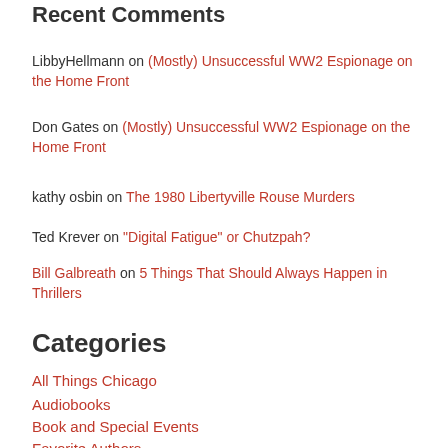Recent Comments
LibbyHellmann on (Mostly) Unsuccessful WW2 Espionage on the Home Front
Don Gates on (Mostly) Unsuccessful WW2 Espionage on the Home Front
kathy osbin on The 1980 Libertyville Rouse Murders
Ted Krever on “Digital Fatigue” or Chutzpah?
Bill Galbreath on 5 Things That Should Always Happen in Thrillers
Categories
All Things Chicago
Audiobooks
Book and Special Events
Favorite Authors